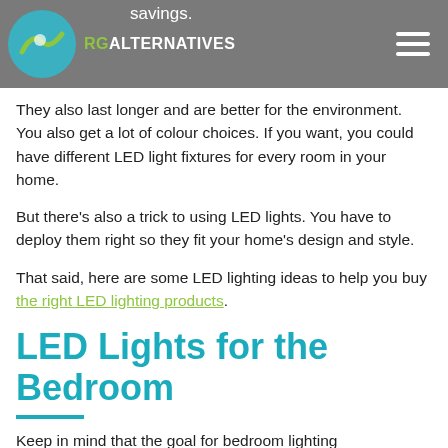savings. RG ALTERNATIVES
They also last longer and are better for the environment. You also get a lot of colour choices. If you want, you could have different LED light fixtures for every room in your home.
But there's also a trick to using LED lights. You have to deploy them right so they fit your home's design and style.
That said, here are some LED lighting ideas to help you buy the right LED lighting products.
LED Lights for the Bedroom
Keep in mind that the goal for bedroom lighting